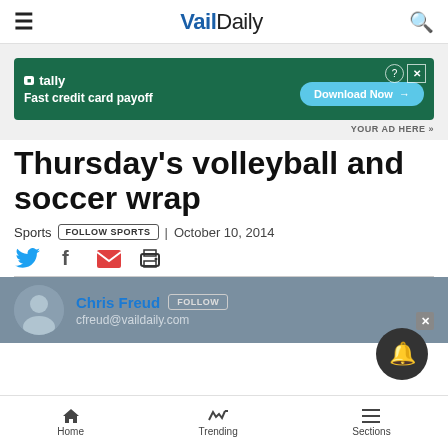VailDaily
[Figure (other): Tally advertisement banner - Fast credit card payoff, Download Now button]
YOUR AD HERE »
Thursday's volleyball and soccer wrap
Sports | FOLLOW SPORTS | October 10, 2014
[Figure (other): Social sharing icons: Twitter, Facebook, Email, Print]
Chris Freud FOLLOW cfreud@vaildaily.com
Home  Trending  Sections